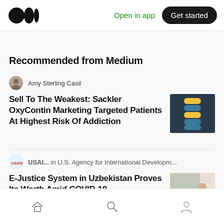Medium logo | Open in app | Get started
Recommended from Medium
Amy Sterling Casil
Sell To The Weakest: Sackler OxyContin Marketing Targeted Patients At Highest Risk Of Addiction
[Figure (photo): Thumbnail image of stacked blue and yellow laboratory items]
USAI... in U.S. Agency for International Developm...
E-Justice System in Uzbekistan Proves Its Worth Amid COVID-19
[Figure (photo): Thumbnail image of a person at a computer/laptop in an office]
Home | Search | Profile